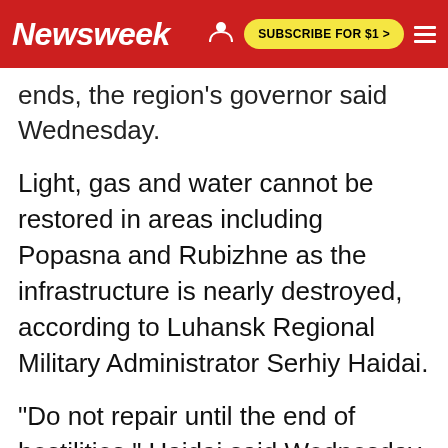Newsweek | SUBSCRIBE FOR $1 >
ends, the region's governor said Wednesday.
Light, gas and water cannot be restored in areas including Popasna and Rubizhne as the infrastructure is nearly destroyed, according to Luhansk Regional Military Administrator Serhiy Haidai.
"Do not repair until the end of hostilities," Haidai said Wednesday. "The Russians are destroying substations and pumping stations, seizing settlements, and then they can't repair anything there."